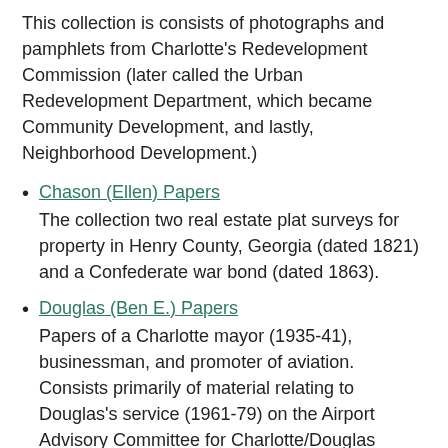This collection is consists of photographs and pamphlets from Charlotte's Redevelopment Commission (later called the Urban Redevelopment Department, which became Community Development, and lastly, Neighborhood Development.)
Chason (Ellen) Papers
The collection two real estate plat surveys for property in Henry County, Georgia (dated 1821) and a Confederate war bond (dated 1863).
Douglas (Ben E.) Papers
Papers of a Charlotte mayor (1935-41), businessman, and promoter of aviation. Consists primarily of material relating to Douglas's service (1961-79) on the Airport Advisory Committee for Charlotte/Douglas International Airport.
Evans (Raymond Floyd) Diary
Diary of an itinerant construction laborer, truck driver, and small-machinery repairman living in